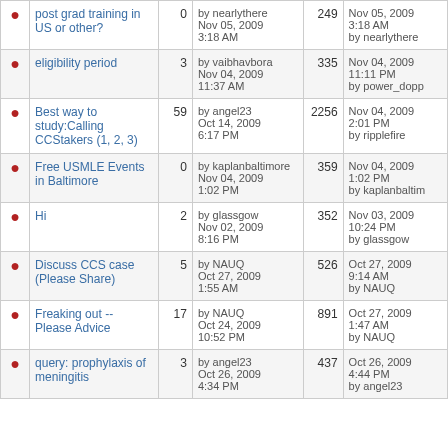|  | Topic | Replies | Last Post | Views | Latest |
| --- | --- | --- | --- | --- | --- |
| • | post grad training in US or other? | 0 | by nearlythere
Nov 05, 2009
3:18 AM | 249 | Nov 05, 2009
3:18 AM
by nearlythere |
| • | eligibility period | 3 | by vaibhavbora
Nov 04, 2009
11:37 AM | 335 | Nov 04, 2009
11:11 PM
by power_dopp |
| • | Best way to study:Calling CCStakers (1, 2, 3) | 59 | by angel23
Oct 14, 2009
6:17 PM | 2256 | Nov 04, 2009
2:01 PM
by ripplefire |
| • | Free USMLE Events in Baltimore | 0 | by kaplanbaltimore
Nov 04, 2009
1:02 PM | 359 | Nov 04, 2009
1:02 PM
by kaplanbaltim |
| • | Hi | 2 | by glassgow
Nov 02, 2009
8:16 PM | 352 | Nov 03, 2009
10:24 PM
by glassgow |
| • | Discuss CCS case (Please Share) | 5 | by NAUQ
Oct 27, 2009
1:55 AM | 526 | Oct 27, 2009
9:14 AM
by NAUQ |
| • | Freaking out -- Please Advice | 17 | by NAUQ
Oct 24, 2009
10:52 PM | 891 | Oct 27, 2009
1:47 AM
by NAUQ |
| • | query: prophylaxis of meningitis | 3 | by angel23
Oct 26, 2009
4:34 PM | 437 | Oct 26, 2009
4:44 PM
by angel23 |